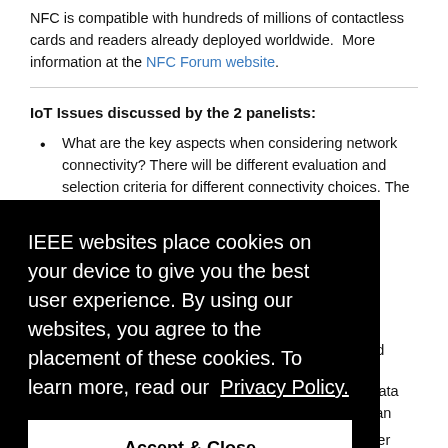NFC is compatible with hundreds of millions of contactless cards and readers already deployed worldwide. More information at the NFC Forum website.
IoT Issues discussed by the 2 panelists:
What are the key aspects when considering network connectivity? There will be different evaluation and selection criteria for different connectivity choices. The criteria to be considered include … and
IEEE websites place cookies on your device to give you the best user experience. By using our websites, you agree to the placement of these cookies. To learn more, read our Privacy Policy.
Accept & Close
… t user … bility … rience.
… he field,
… ons like video surveillance, medical video, and/or data bursting from equipment or controllers will also be an important criteria for